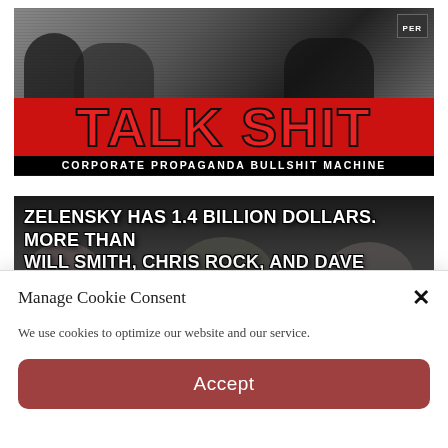[Figure (photo): Black and white TV screenshot with large red and black 'TALK SHIT' title and subtitle 'CORPORATE PROPAGANDA BULLSHIT MACHINE']
[Figure (photo): Dark image with faces and white bold text overlay reading 'ZELENSKY HAS 1.4 BILLION DOLLARS. MORE THAN WILL SMITH, CHRIS ROCK, AND DAVE CHAPELLE COMBINED']
Manage Cookie Consent
We use cookies to optimize our website and our service.
Accept